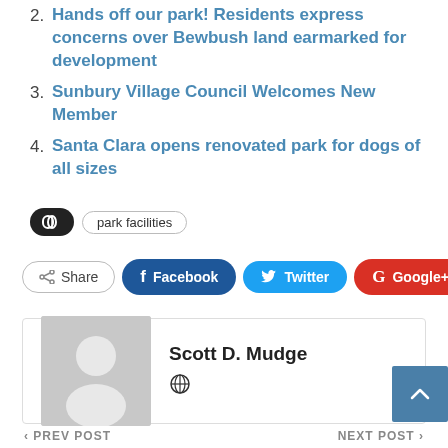Hands off our park! Residents express concerns over Bewbush land earmarked for development
Sunbury Village Council Welcomes New Member
Santa Clara opens renovated park for dogs of all sizes
park facilities
Share  Facebook  Twitter  Google+
Scott D. Mudge